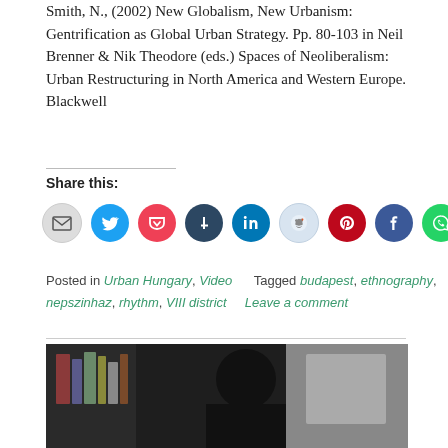Smith, N., (2002) New Globalism, New Urbanism: Gentrification as Global Urban Strategy. Pp. 80-103 in Neil Brenner & Nik Theodore (eds.) Spaces of Neoliberalism: Urban Restructuring in North America and Western Europe. Blackwell
Share this:
[Figure (infographic): Row of social sharing icons: email (grey), Twitter (blue), Pocket (red), Tumblr (dark navy), LinkedIn (dark blue), Reddit (light blue), Pinterest (dark red), Facebook (blue), WhatsApp (green)]
Posted in Urban Hungary, Video Tagged budapest, ethnography, nepszinhaz, rhythm, VIII district Leave a comment